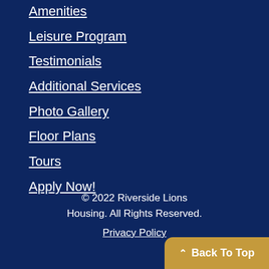Amenities
Leisure Program
Testimonials
Additional Services
Photo Gallery
Floor Plans
Tours
Apply Now!
© 2022 Riverside Lions Housing. All Rights Reserved.
Privacy Policy
Back To Top